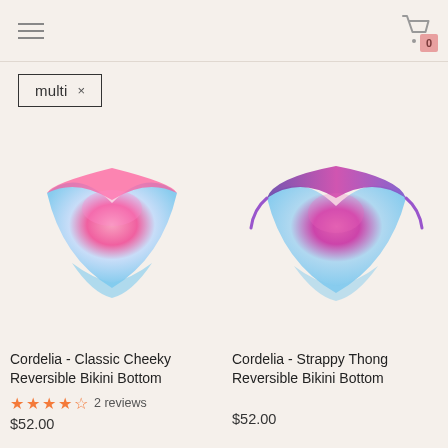Navigation header with hamburger menu and shopping cart (0 items)
multi ×
[Figure (photo): Cordelia Classic Cheeky Reversible Bikini Bottom in pink to light blue gradient tie-dye print]
Cordelia - Classic Cheeky Reversible Bikini Bottom
★★★★☆ 2 reviews
$52.00
[Figure (photo): Cordelia Strappy Thong Reversible Bikini Bottom in purple to pink to light blue gradient tie-dye print with tie sides]
Cordelia - Strappy Thong Reversible Bikini Bottom
$52.00